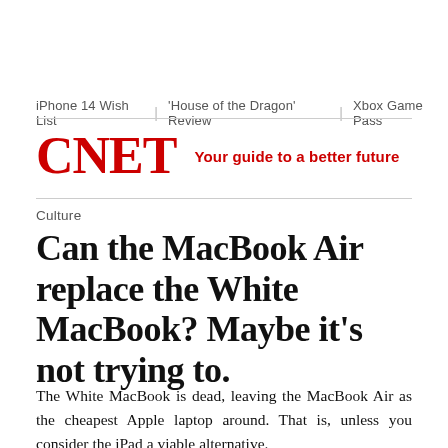iPhone 14 Wish List  |  'House of the Dragon' Review  |  Xbox Game Pass
CNET  Your guide to a better future
Culture
Can the MacBook Air replace the White MacBook? Maybe it's not trying to.
The White MacBook is dead, leaving the MacBook Air as the cheapest Apple laptop around. That is, unless you consider the iPad a viable alternative.